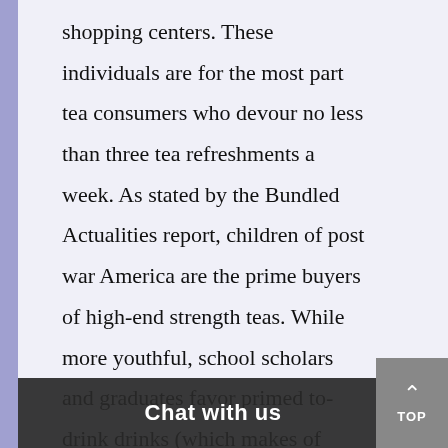shopping centers. These individuals are for the most part tea consumers who devour no less than three tea refreshments a week. As stated by the Bundled Actualities report, children of post war America are the prime buyers of high-end strength teas. While more youthful, school scholars and graduates favor primed to-drink drinks (which makes of sixty percent of tea business), more established eras lean toward strength teas (th